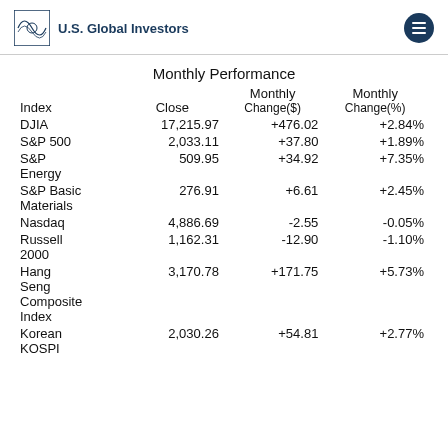U.S. Global Investors
Monthly Performance
| Index | Close | Monthly Change($) | Monthly Change(%) |
| --- | --- | --- | --- |
| DJIA | 17,215.97 | +476.02 | +2.84% |
| S&P 500 | 2,033.11 | +37.80 | +1.89% |
| S&P Energy | 509.95 | +34.92 | +7.35% |
| S&P Basic Materials | 276.91 | +6.61 | +2.45% |
| Nasdaq | 4,886.69 | -2.55 | -0.05% |
| Russell 2000 | 1,162.31 | -12.90 | -1.10% |
| Hang Seng Composite Index | 3,170.78 | +171.75 | +5.73% |
| Korean KOSPI | 2,030.26 | +54.81 | +2.77% |